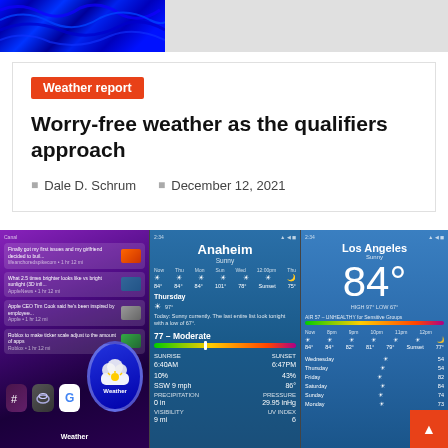[Figure (photo): Top banner image: left side shows blue psychedelic pattern/waves, right side is light gray]
Weather report
Worry-free weather as the qualifiers approach
Dale D. Schrum   December 12, 2021
[Figure (screenshot): Three smartphone screenshots showing weather app: left shows iOS notification center and Weather app icon, center shows Anaheim weather with AQI 77 Moderate and details (6:40AM/6:47PM, 10%/43%, SSW 9mph/86°, 0in/29.95 inHg, 9mi/6), right shows Los Angeles weather with 84° temperature and weekly forecast]